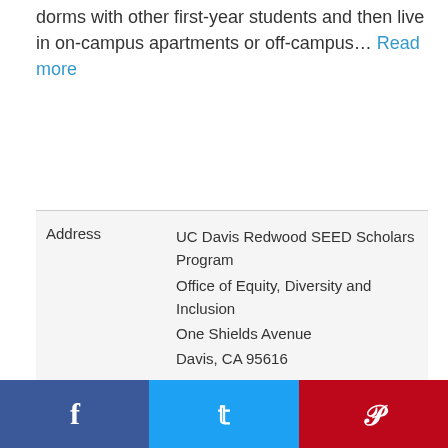dorms with other first-year students and then live in on-campus apartments or off-campus... Read more
| Field | Value |
| --- | --- |
| Address | UC Davis Redwood SEED Scholars Program
Office of Equity, Diversity and Inclusion
One Shields Avenue
Davis, CA 95616 |
| Phone | 530.848.3519 |
| Web | Program website |
| Contact | Beth Foraker |
| Email | ebforaker@ucdavis.edu |